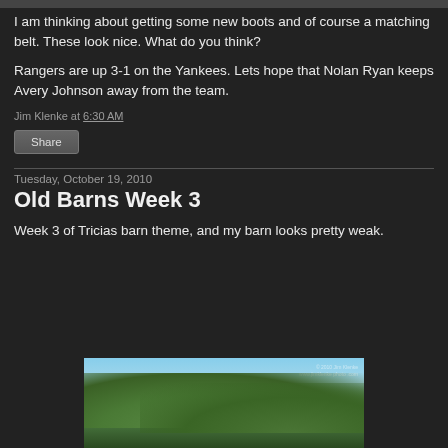I am thinking about getting some new boots and of course a matching belt.  These look nice. What do you think?
Rangers are up 3-1 on the Yankees.  Lets hope that Nolan Ryan keeps Avery Johnson away from the team.
Jim Klenke at 6:30 AM
Share
Tuesday, October 19, 2010
Old Barns Week 3
Week 3 of Tricias barn theme, and my barn looks pretty weak.
[Figure (photo): Photograph of trees with sky background, appears to show barn area with dense green tree canopy against blue sky]